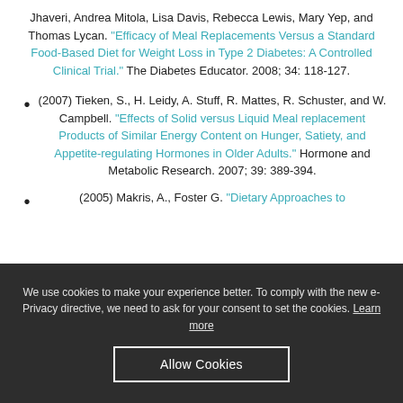Jhaveri, Andrea Mitola, Lisa Davis, Rebecca Lewis, Mary Yep, and Thomas Lycan. "Efficacy of Meal Replacements Versus a Standard Food-Based Diet for Weight Loss in Type 2 Diabetes: A Controlled Clinical Trial." The Diabetes Educator. 2008; 34: 118-127.
(2007) Tieken, S., H. Leidy, A. Stuff, R. Mattes, R. Schuster, and W. Campbell. "Effects of Solid versus Liquid Meal replacement Products of Similar Energy Content on Hunger, Satiety, and Appetite-regulating Hormones in Older Adults." Hormone and Metabolic Research. 2007; 39: 389-394.
(2005) Makris, A., Foster G. "Dietary Approaches to
We use cookies to make your experience better. To comply with the new e-Privacy directive, we need to ask for your consent to set the cookies. Learn more
Allow Cookies